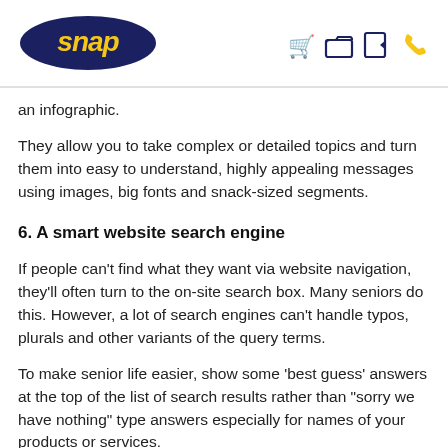snap [logo with icons]
an infographic.
They allow you to take complex or detailed topics and turn them into easy to understand, highly appealing messages using images, big fonts and snack-sized segments.
6. A smart website search engine
If people can't find what they want via website navigation, they'll often turn to the on-site search box. Many seniors do this. However, a lot of search engines can't handle typos, plurals and other variants of the query terms.
To make senior life easier, show some 'best guess' answers at the top of the list of search results rather than "sorry we have nothing" type answers especially for names of your products or services.